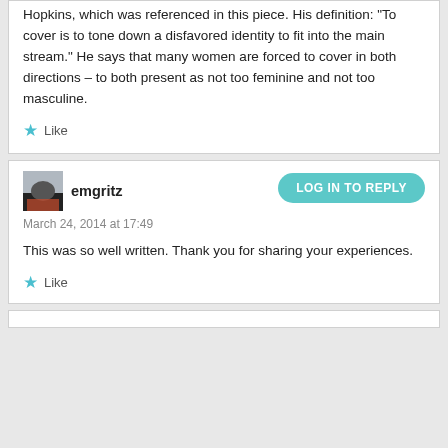Hopkins, which was referenced in this piece. His definition: “To cover is to tone down a disfavored identity to fit into the main stream.” He says that many women are forced to cover in both directions – to both present as not too feminine and not too masculine.
Like
emgritz
LOG IN TO REPLY
March 24, 2014 at 17:49
This was so well written. Thank you for sharing your experiences.
Like